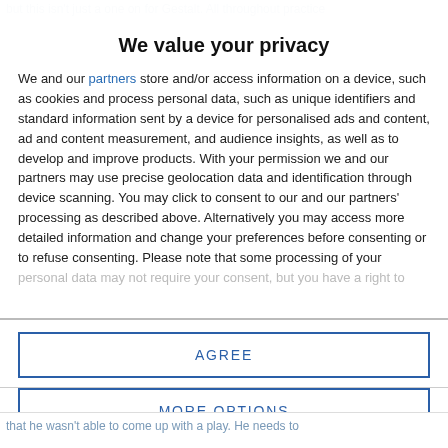but this isn't just a one on for Gestalt. All throughout practice
We value your privacy
We and our partners store and/or access information on a device, such as cookies and process personal data, such as unique identifiers and standard information sent by a device for personalised ads and content, ad and content measurement, and audience insights, as well as to develop and improve products. With your permission we and our partners may use precise geolocation data and identification through device scanning. You may click to consent to our and our partners' processing as described above. Alternatively you may access more detailed information and change your preferences before consenting or to refuse consenting. Please note that some processing of your personal data may not require your consent, but you have a right to
AGREE
MORE OPTIONS
that he wasn't able to come up with a play. He needs to